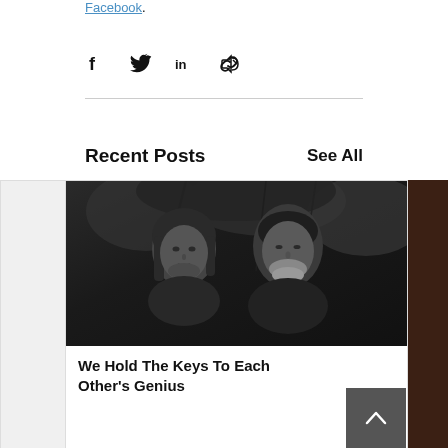Facebook.
[Figure (other): Social share icons: Facebook, Twitter, LinkedIn, Link]
[Figure (photo): Black and white photo of two men standing in front of trees/foliage]
Recent Posts
See All
We Hold The Keys To Each Other's Genius